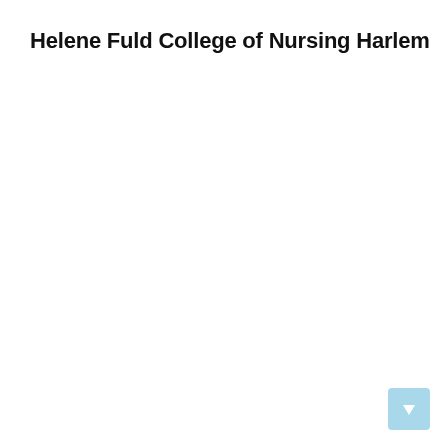Helene Fuld College of Nursing Harlem